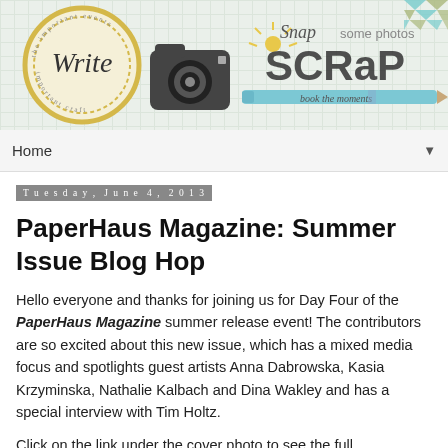[Figure (illustration): Blog header banner for a scrapbooking blog. Features a grid background, a circular badge with 'Write' in script, a camera icon, and 'Snap some photos SCRaP book the moments' text with a pencil graphic. Chevron pattern in top-right corner.]
Home ▼
Tuesday, June 4, 2013
PaperHaus Magazine: Summer Issue Blog Hop
Hello everyone and thanks for joining us for Day Four of the PaperHaus Magazine summer release event! The contributors are so excited about this new issue, which has a mixed media focus and spotlights guest artists Anna Dabrowska, Kasia Krzyminska, Nathalie Kalbach and Dina Wakley and has a special interview with Tim Holtz.
Click on the link under the cover photo to see the full